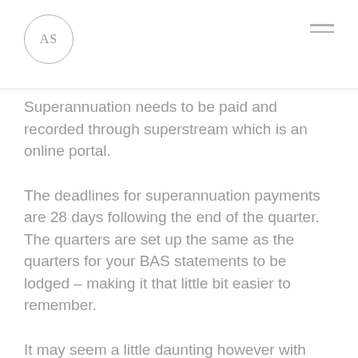AS
Superannuation needs to be paid and recorded through superstream which is an online portal.
The deadlines for superannuation payments are 28 days following the end of the quarter. The quarters are set up the same as the quarters for your BAS statements to be lodged – making it that little bit easier to remember.
It may seem a little daunting however with organization you should have no trouble keep up with the dates. It is a good idea to set reminders in your phone or calendar in the weeks has the